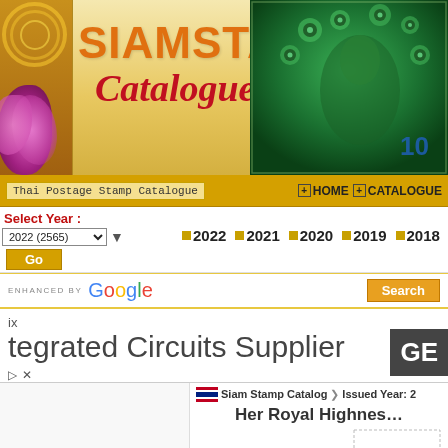[Figure (screenshot): Siam Stamp Catalogue website header banner with logo text SIAMSTAMP Catalogue, orchid decoration on left, peacock image on right]
Thai Postage Stamp Catalogue  HOME  CATALOGUE
Select Year : 2022 (2565)  Go  2022  2021  2020  2019  2018  2017  20…
ENHANCED BY Google  Search
[Figure (screenshot): Advertisement banner: ix / tegrated Circuits Supplier / GE]
Siam Stamp Catalog > Issued Year: 2
Her Royal Highnes…